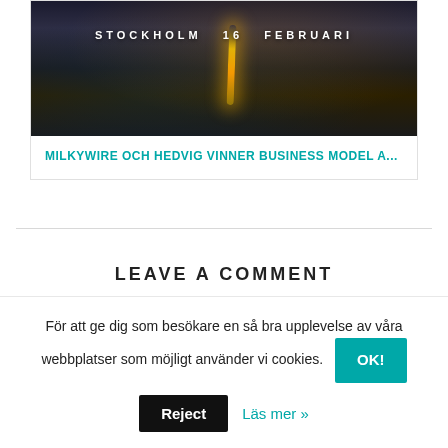[Figure (photo): Aerial night photo of Stockholm city with a glowing light streak (illuminated street/canal) and text overlay 'STOCKHOLM 16 FEBRUARI']
MILKYWIRE OCH HEDVIG VINNER BUSINESS MODEL A...
LEAVE A COMMENT
För att ge dig som besökare en så bra upplevelse av våra webbplatser som möjligt använder vi cookies.
Reject   Läs mer »   OK!